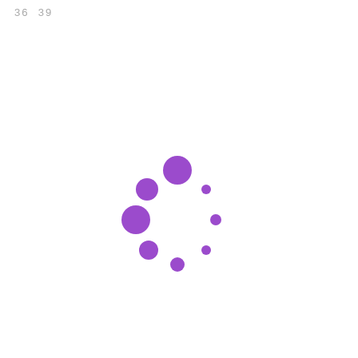36  39
[Figure (bubble-chart): A partial arc/circle arrangement of purple bubbles of varying sizes, suggesting a loading or cluster diagram with approximately 8 circles arranged in a curved pattern]